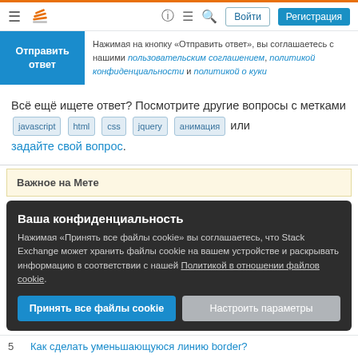[Figure (screenshot): Stack Overflow navigation bar with hamburger menu, logo, icons (help, chat, search), login and register buttons]
Нажимая на кнопку «Отправить ответ», вы соглашаетесь с нашими пользовательским соглашением, политикой конфиденциальности и политикой о куки
Всё ещё ищете ответ? Посмотрите другие вопросы с метками javascript html css jquery анимация или задайте свой вопрос.
Важное на Мете
Ваша конфиденциальность
Нажимая «Принять все файлы cookie» вы соглашаетесь, что Stack Exchange может хранить файлы cookie на вашем устройстве и раскрывать информацию в соответствии с нашей Политикой в отношении файлов cookie.
Принять все файлы cookie   Настроить параметры
5   Как сделать уменьшающуюся линию border?